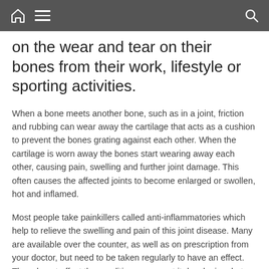Navigation bar with home, menu, and search icons
on the wear and tear on their bones from their work, lifestyle or sporting activities.
When a bone meets another bone, such as in a joint, friction and rubbing can wear away the cartilage that acts as a cushion to prevent the bones grating against each other. When the cartilage is worn away the bones start wearing away each other, causing pain, swelling and further joint damage. This often causes the affected joints to become enlarged or swollen, hot and inflamed.
Most people take painkillers called anti-inflammatories which help to relieve the swelling and pain of this joint disease. Many are available over the counter, as well as on prescription from your doctor, but need to be taken regularly to have an effect. They do not affect the condition or prevent it developing, but can help to prevent the joints becoming more damaged and painful.
Recently, more people have been taking supplements to help